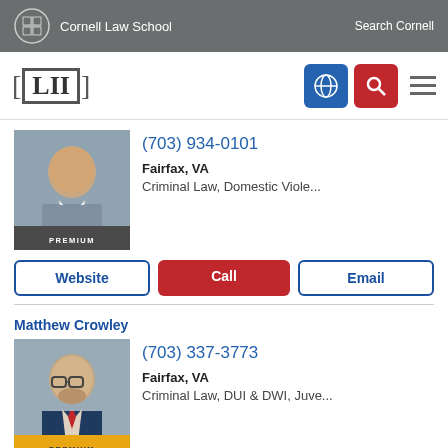Cornell Law School | Search Cornell
[Figure (logo): LII Legal Information Institute logo with Cornell Law School branding, search and menu icons]
(703) 934-0101
Fairfax, VA
Criminal Law, Domestic Viole...
[Figure (photo): Professional headshot of male attorney in suit, PREMIUM badge]
Website | Call | Email
Matthew Crowley
(703) 337-3773
Fairfax, VA
Criminal Law, DUI & DWI, Juve...
[Figure (photo): Professional headshot of Matthew Crowley, male attorney with glasses and beard, PREMIUM badge]
Website | Call | Email